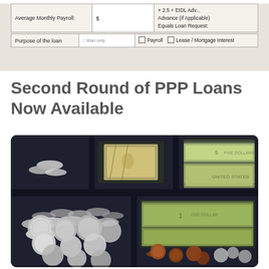[Figure (photo): Cropped image of a PPP loan application form showing fields for Average Monthly Payroll, purpose of the loan, checkboxes for Payroll and Lease/Mortgage Interest, and text about EIDL Advance and Equals Loan Request]
Second Round of PPP Loans Now Available
[Figure (photo): Photograph of an open cash register drawer filled with US paper currency (dollar bills) and various coins (quarters, pennies, dimes) arranged in compartments of a black plastic cash tray]